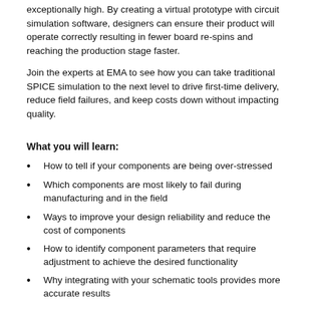exceptionally high. By creating a virtual prototype with circuit simulation software, designers can ensure their product will operate correctly resulting in fewer board re-spins and reaching the production stage faster.
Join the experts at EMA to see how you can take traditional SPICE simulation to the next level to drive first-time delivery, reduce field failures, and keep costs down without impacting quality.
What you will learn:
How to tell if your components are being over-stressed
Which components are most likely to fail during manufacturing and in the field
Ways to improve your design reliability and reduce the cost of components
How to identify component parameters that require adjustment to achieve the desired functionality
Why integrating with your schematic tools provides more accurate results